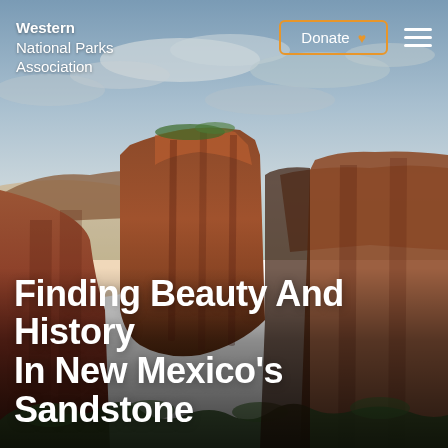[Figure (photo): Aerial view of red sandstone canyon cliffs in New Mexico under a partly cloudy sky, with green vegetation at the base and canyon depths in the background.]
Western National Parks Association
Finding Beauty And History In New Mexico's Sandstone